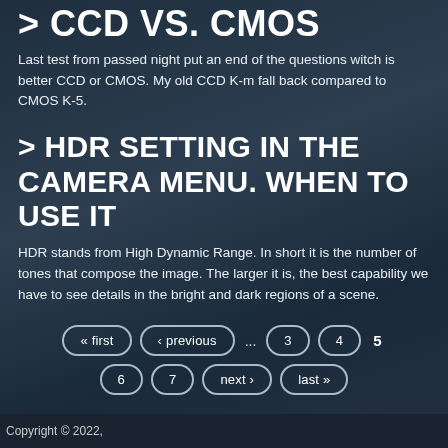> CCD VS. CMOS
Last test from passed night put an end of the questions witch is better CCD or CMOS. My old CCD K-m fall back compared to CMOS K-5.
> HDR SETTING IN THE CAMERA MENU. WHEN TO USE IT
HDR stands from High Dynamic Range. In short it is the number of tones that compose the image. The larger it is, the best capability we have to see details in the bright and dark regions of a scene.
« first
‹ previous
...
3
4
5
6
7
next ›
last »
Copyright © 2022,